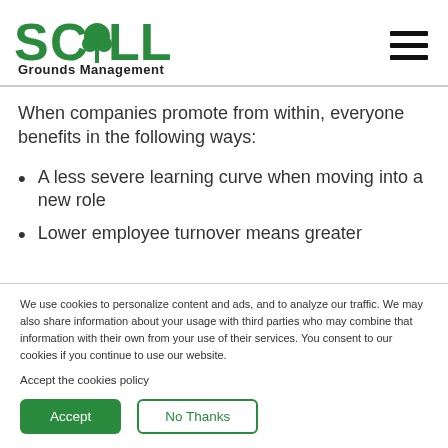Schill Grounds Management
When companies promote from within, everyone benefits in the following ways:
A less severe learning curve when moving into a new role
Lower employee turnover means greater
We use cookies to personalize content and ads, and to analyze our traffic. We may also share information about your usage with third parties who may combine that information with their own from your use of their services. You consent to our cookies if you continue to use our website.
Accept the cookies policy
Accept
No Thanks